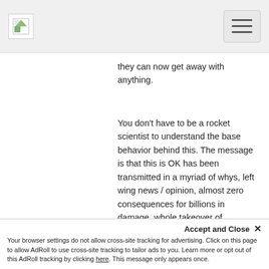[logo icon] [hamburger menu button]
they can now get away with anything.
You don't have to be a rocket scientist to understand the base behavior behind this. The message is that this is OK has been transmitted in a myriad of whys, left wing news / opinion, almost zero consequences for billions in damage, whole takeover of neighborhoods by paid anarchists, the elimination of bail requirements,  George Soros funded district attorneys who will not prosecute criminals and on and on.
I personally believe that this a part of a planed and concerted effort to destroy this county from both internal and external forces and from where I am standing they look like there winning thus far.
Accept and Close ✕
Your browser settings do not allow cross-site tracking for advertising. Click on this page to allow AdRoll to use cross-site tracking to tailor ads to you. Learn more or opt out of this AdRoll tracking by clicking here. This message only appears once.